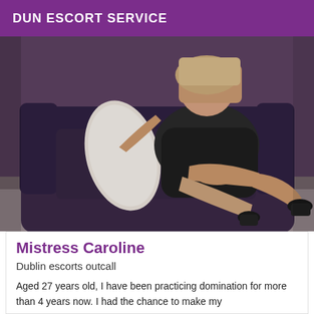DUN ESCORT SERVICE
[Figure (photo): A woman in a black dress seated on a dark leather sofa, holding a white pillow, with legs crossed and wearing black heels.]
Mistress Caroline
Dublin escorts outcall
Aged 27 years old, I have been practicing domination for more than 4 years now. I had the chance to make my